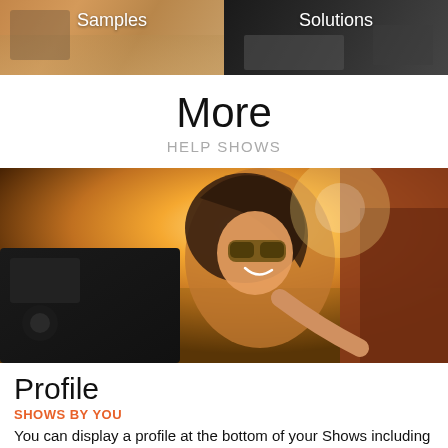[Figure (photo): Two side-by-side photos at top: left shows a person painting with label 'Samples', right shows a dark scene with laptop with label 'Solutions']
More
HELP SHOWS
[Figure (photo): Woman with sunglasses smiling in a car, golden hour lighting, wind in hair]
Profile
SHOWS BY YOU
You can display a profile at the bottom of your Shows including a picture, title and description. You have the option